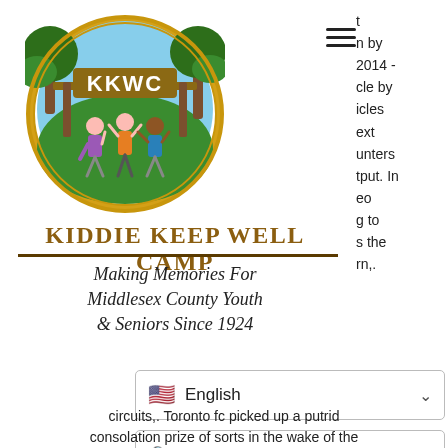[Figure (logo): Kiddie Keep Well Camp circular logo showing children playing under a wooden sign reading KKWC with trees in background]
KIDDIE KEEP WELL CAMP
Making Memories For Middlesex County Youth & Seniors Since 1924
[Figure (screenshot): Language selector dropdown showing US flag and English]
[Figure (screenshot): Search input box with magnifying glass icon]
circuits,. Toronto fc picked up a putrid consolation prize of sorts in the wake of the
n by 2014 - cle by icles ext unters tput. In eo g to s the rn,. udio s a half ew er